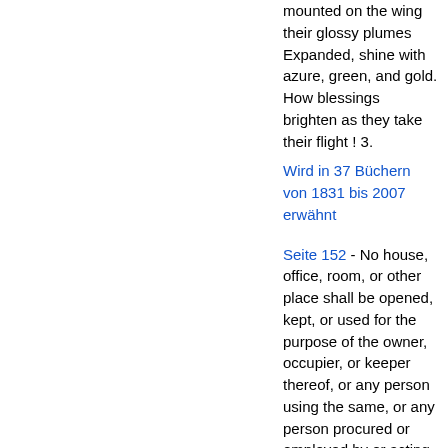mounted on the wing their glossy plumes Expanded, shine with azure, green, and gold. How blessings brighten as they take their flight ! 3.
Wird in 37 Büchern von 1831 bis 2007 erwähnt
Seite 152 - No house, office, room, or other place shall be opened, kept, or used for the purpose of the owner, occupier, or keeper thereof, or any person using the same, or any person procured or employed by or acting for or on behalf of such owner, occupier, or keeper, or person using the same, or of any